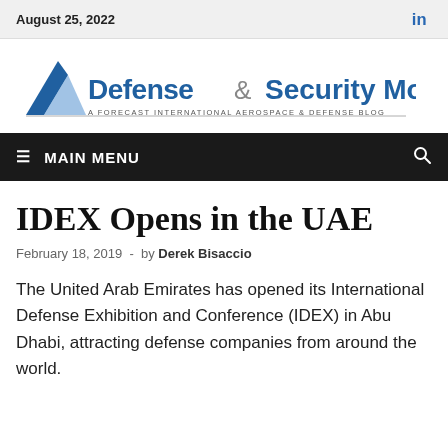August 25, 2022
[Figure (logo): Defense & Security Monitor — A Forecast International Aerospace & Defense Blog logo with blue wing/chevron graphic]
≡ MAIN MENU
IDEX Opens in the UAE
February 18, 2019  -  by Derek Bisaccio
The United Arab Emirates has opened its International Defense Exhibition and Conference (IDEX) in Abu Dhabi, attracting defense companies from around the world.